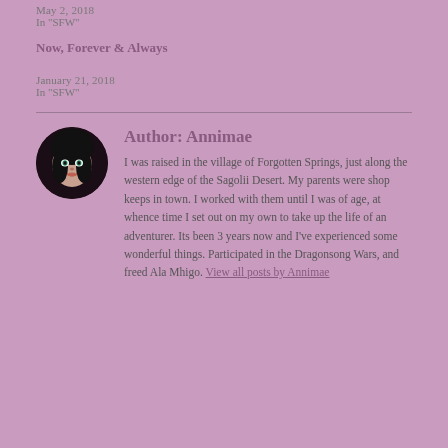May 2, 2018
In "SFW"
Now, Forever & Always
January 21, 2018
In "SFW"
[Figure (photo): Round avatar portrait of a dark-haired anime-style character with green eyes against a dark background]
Author: Annimae
I was raised in the village of Forgotten Springs, just along the western edge of the Sagolii Desert. My parents were shop keeps in town. I worked with them until I was of age, at whence time I set out on my own to take up the life of an adventurer. Its been 3 years now and I've experienced some wonderful things. Participated in the Dragonsong Wars, and freed Ala Mhigo. View all posts by Annimae